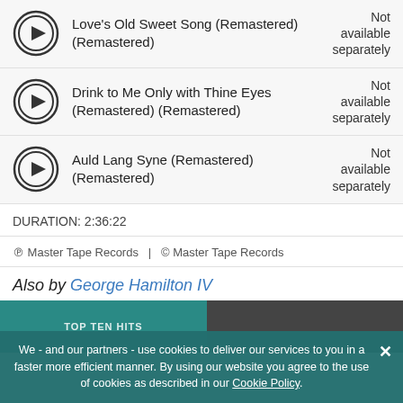Love's Old Sweet Song (Remastered) (Remastered) — Not available separately
Drink to Me Only with Thine Eyes (Remastered) (Remastered) — Not available separately
Auld Lang Syne (Remastered) (Remastered) — Not available separately
DURATION:  2:36:22
℗ Master Tape Records  |  © Master Tape Records
Also by George Hamilton IV
[Figure (photo): Album art strip showing two album thumbnails partially visible]
We - and our partners - use cookies to deliver our services to you in a faster more efficient manner. By using our website you agree to the use of cookies as described in our Cookie Policy.